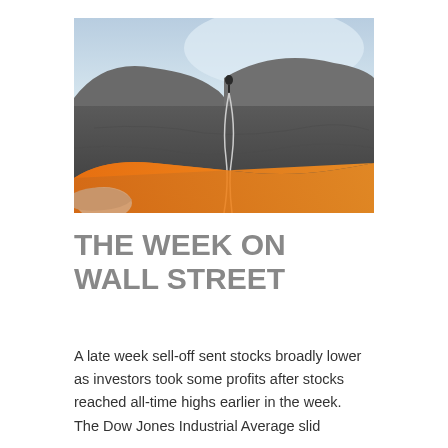[Figure (photo): A rock climber at the top of a cliff face, with a hand in the foreground holding an orange tarp or rope, and ropes descending the rock face. Light sky in the background.]
THE WEEK ON WALL STREET
A late week sell-off sent stocks broadly lower as investors took some profits after stocks reached all-time highs earlier in the week.
The Dow Jones Industrial Average slid